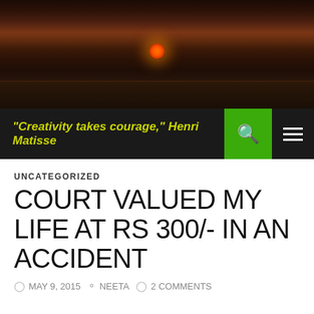[Figure (photo): Sunset over ocean with dark clouds, orange sky, and sun visible on horizon]
"Creativity takes courage," Henri Matisse
UNCATEGORIZED
COURT VALUED MY LIFE AT RS 300/- IN AN ACCIDENT
MAY 9, 2015  NEETA  2 COMMENTS
A lot is being reported on law, bail and the legal system